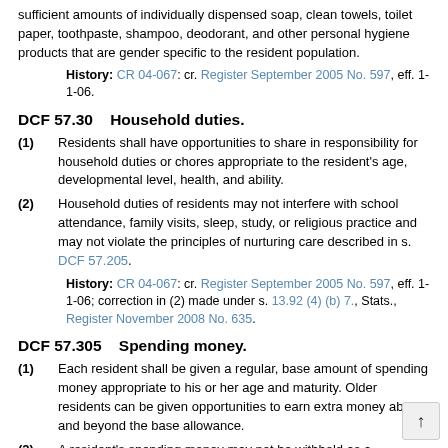sufficient amounts of individually dispensed soap, clean towels, toilet paper, toothpaste, shampoo, deodorant, and other personal hygiene products that are gender specific to the resident population.
History: CR 04-067: cr. Register September 2005 No. 597, eff. 1-1-06.
DCF 57.30    Household duties.
(1)  Residents shall have opportunities to share in responsibility for household duties or chores appropriate to the resident's age, developmental level, health, and ability.
(2)  Household duties of residents may not interfere with school attendance, family visits, sleep, study, or religious practice and may not violate the principles of nurturing care described in s. DCF 57.205.
History: CR 04-067: cr. Register September 2005 No. 597, eff. 1-1-06; correction in (2) made under s. 13.92 (4) (b) 7., Stats., Register November 2008 No. 635.
DCF 57.305    Spending money.
(1)  Each resident shall be given a regular, base amount of spending money appropriate to his or her age and maturity. Older residents can be given opportunities to earn extra money above and beyond the base allowance.
(2)  A resident's spending money may not be withheld as a disciplinary action.